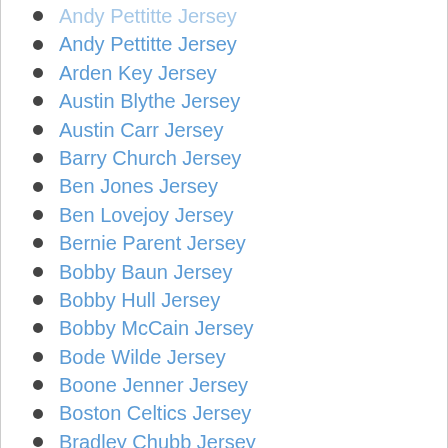Andy Pettitte Jersey
Arden Key Jersey
Austin Blythe Jersey
Austin Carr Jersey
Barry Church Jersey
Ben Jones Jersey
Ben Lovejoy Jersey
Bernie Parent Jersey
Bobby Baun Jersey
Bobby Hull Jersey
Bobby McCain Jersey
Bode Wilde Jersey
Boone Jenner Jersey
Boston Celtics Jersey
Bradley Chubb Jersey
Brandon Carr Jersey
Brent Grimes Jersey
Brent Qvale Jersey
Brett Connolly Jersey
Brett Hull Jersey